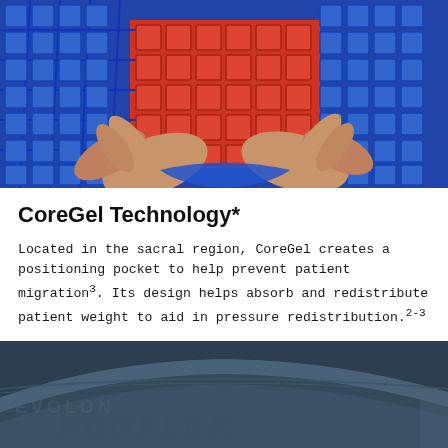[Figure (photo): Hands pulling apart blue and red gel grid/foam material showing the CoreGel technology with interlocking lattice structure]
CoreGel Technology*
Located in the sacral region, CoreGel creates a positioning pocket to help prevent patient migration3. Its design helps absorb and redistribute patient weight to aid in pressure redistribution.2-3
[Figure (photo): Close-up of a dark navy/blue medical mattress or pad with embossed text reading PROFLEX or similar brand name]